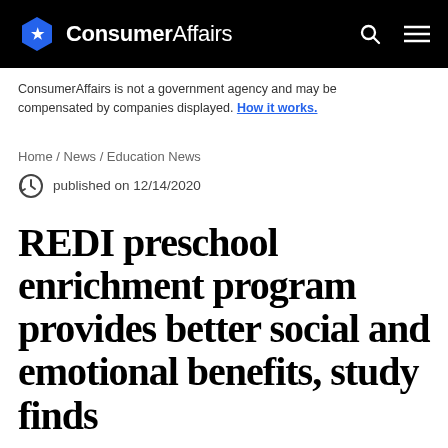ConsumerAffairs
ConsumerAffairs is not a government agency and may be compensated by companies displayed. How it works.
Home / News / Education News
published on 12/14/2020
REDI preschool enrichment program provides better social and emotional benefits, study finds